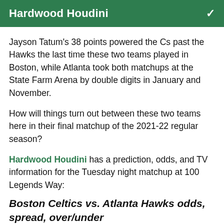Hardwood Houdini
Jayson Tatum's 38 points powered the Cs past the Hawks the last time these two teams played in Boston, while Atlanta took both matchups at the State Farm Arena by double digits in January and November.
How will things turn out between these two teams here in their final matchup of the 2021-22 regular season?
Hardwood Houdini has a prediction, odds, and TV information for the Tuesday night matchup at 100 Legends Way:
Boston Celtics vs. Atlanta Hawks odds, spread, over/under